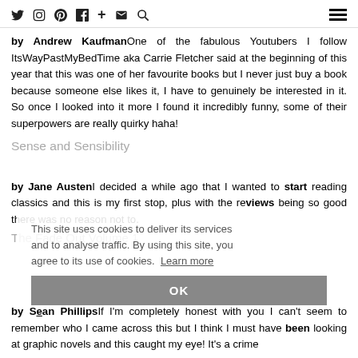Social media icons and hamburger menu
by Andrew Kaufman One of the fabulous Youtubers I follow ItsWayPastMyBedTime aka Carrie Fletcher said at the beginning of this year that this was one of her favourite books but I never just buy a book because someone else likes it, I have to genuinely be interested in it. So once I looked into it more I found it incredibly funny, some of their superpowers are really quirky haha!
Sense and Sensibility
by Jane Austen I decided a while ago that I wanted to start reading classics and this is my first stop, plus with the reviews being so good there was no reason not to.
The Fade Out Volume 1
This site uses cookies to deliver its services and to analyse traffic. By using this site, you agree to its use of cookies. Learn more
OK
by Sean Phillips If I'm completely honest with you I can't seem to remember who I came across this but I think I must have been looking at graphic novels and this caught my eye! It's a crime